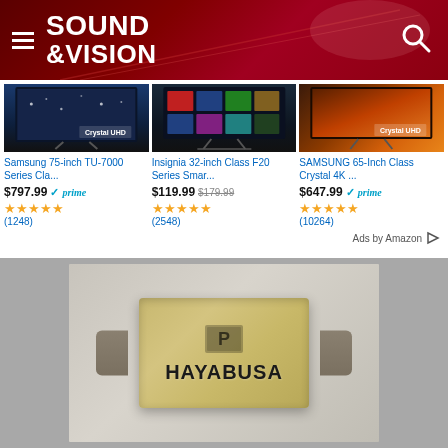[Figure (screenshot): Sound & Vision website header with dark red background, hamburger menu icon, Sound & Vision logo in white, and search icon]
[Figure (screenshot): Amazon advertisement section showing three TV products: Samsung 75-inch TU-7000 Series at $797.99 with Prime badge and 4.5 stars (1248 reviews); Insignia 32-inch Class F20 Series at $119.99 (was $179.99) with 4.5 stars (2548 reviews); SAMSUNG 65-Inch Class Crystal 4K at $647.99 with Prime badge and 4.5 stars (10264 reviews). Ads by Amazon label at bottom right.]
[Figure (photo): Close-up photo of a metallic gold/bronze colored cylindrical or rectangular audio device with Polk Audio logo and HAYABUSA text engraved on it, set against a gray background]